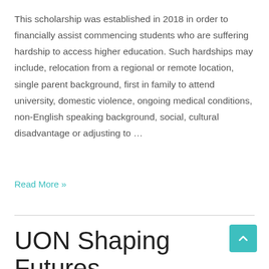This scholarship was established in 2018 in order to financially assist commencing students who are suffering hardship to access higher education. Such hardships may include, relocation from a regional or remote location, single parent background, first in family to attend university, domestic violence, ongoing medical conditions, non-English speaking background, social, cultural disadvantage or adjusting to …
Read More »
UON Shaping Futures Scholarship